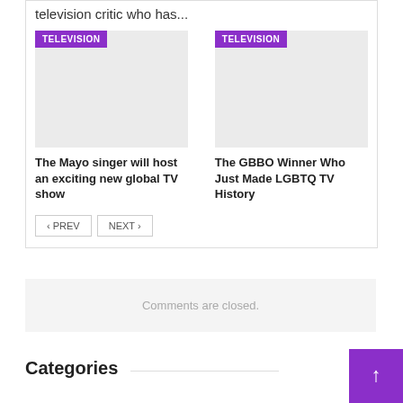television critic who has...
[Figure (photo): Television article thumbnail image placeholder (gray) with TELEVISION category badge]
The Mayo singer will host an exciting new global TV show
[Figure (photo): Television article thumbnail image placeholder (gray) with TELEVISION category badge]
The GBBO Winner Who Just Made LGBTQ TV History
< PREV   NEXT >
Comments are closed.
Categories